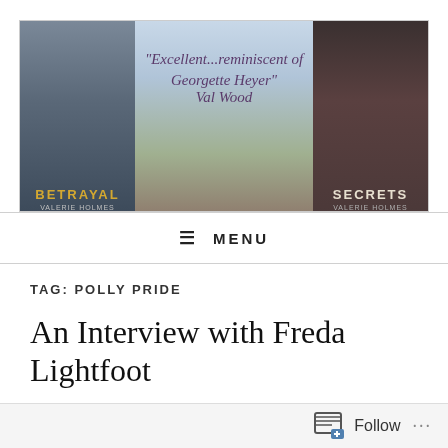[Figure (illustration): Website banner with two book covers (BETRAYAL on left, SECRETS on right) flanking a moorland landscape background. Center text reads: "Excellent...reminiscent of Georgette Heyer" Val Wood]
≡ MENU
TAG: POLLY PRIDE
An Interview with Freda Lightfoot
PUBLISHED ON December 8, 2013
3 Comments